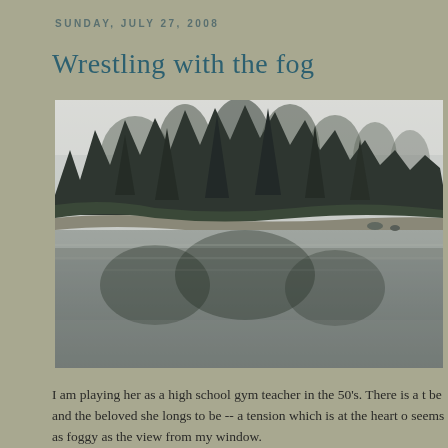SUNDAY, JULY 27, 2008
Wrestling with the fog
[Figure (photo): A foggy landscape photograph showing a forested shoreline reflected in a calm, misty lake or inlet. Dense evergreen trees line the far bank, their dark forms mirrored in the still grey water below. Heavy fog obscures the background sky and distant features, creating a moody, atmospheric scene.]
I am playing her as a high school gym teacher in the 50's. There is a t be and the beloved she longs to be -- a tension which is at the heart o seems as foggy as the view from my window.